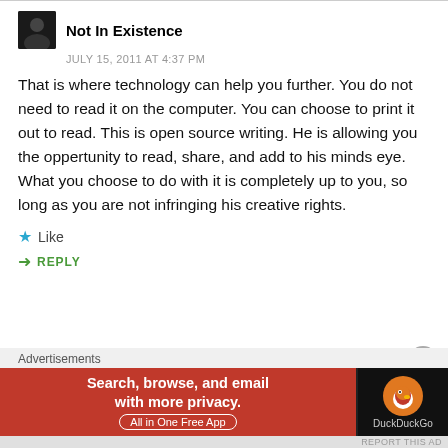Not In Existence
JULY 15, 2011 AT 4:37 PM
That is where technology can help you further. You do not need to read it on the computer. You can choose to print it out to read. This is open source writing. He is allowing you the oppertunity to read, share, and add to his minds eye. What you choose to do with it is completely up to you, so long as you are not infringing his creative rights.
Like
REPLY
Advertisements
[Figure (screenshot): DuckDuckGo advertisement banner: 'Search, browse, and email with more privacy. All in One Free App' with DuckDuckGo logo on dark background.]